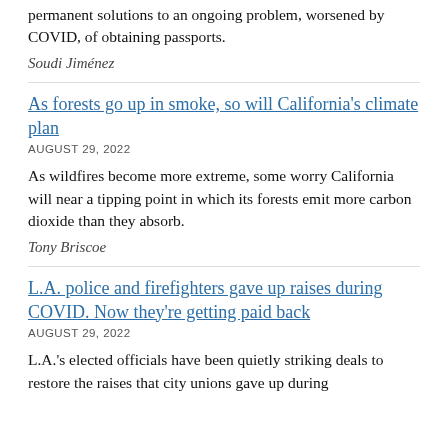permanent solutions to an ongoing problem, worsened by COVID, of obtaining passports.
Soudi Jiménez
As forests go up in smoke, so will California's climate plan
AUGUST 29, 2022
As wildfires become more extreme, some worry California will near a tipping point in which its forests emit more carbon dioxide than they absorb.
Tony Briscoe
L.A. police and firefighters gave up raises during COVID. Now they're getting paid back
AUGUST 29, 2022
L.A.'s elected officials have been quietly striking deals to restore the raises that city unions gave up during